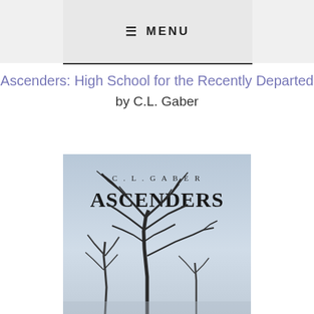≡ MENU
Ascenders: High School for the Recently Departed
by C.L. Gaber
[Figure (illustration): Book cover for 'Ascenders' by C.L. Gaber. A moody grayscale cover with a large bare tree silhouette against a misty light gray sky. Text at top reads 'C. L. GABER' in small spaced letters, and 'ASCENDERS' in large serif letters below.]